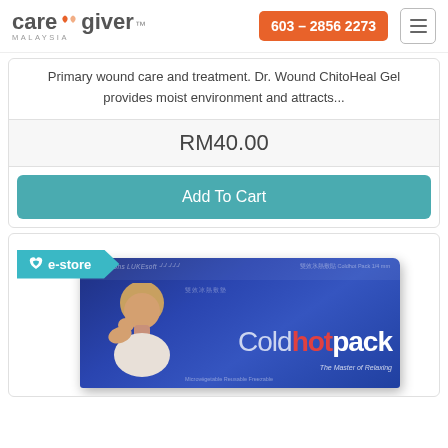[Figure (logo): Caregiver Malaysia logo with orange/peach hearts and text]
603 - 2856 2273
Primary wound care and treatment. Dr. Wound ChitoHeal Gel provides moist environment and attracts...
RM40.00
Add To Cart
[Figure (screenshot): e-store badge and Coldhotpack product box image. The box is blue/navy with Coldhotpack branding, tagline 'The Master of Relaxing', and shows a person leaning on their hand.]